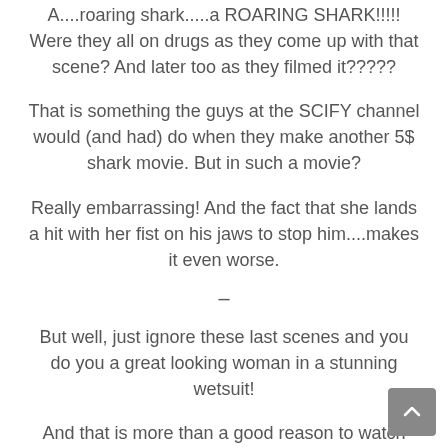A....roaring shark.....a ROARING SHARK!!!!! Were they all on drugs as they come up with that scene? And later too as they filmed it?????
That is something the guys at the SCIFY channel would (and had) do when they make another 5$ shark movie. But in such a movie?
Really embarrassing! And the fact that she lands a hit with her fist on his jaws to stop him....makes it even worse.
–
But well, just ignore these last scenes and you do you a great looking woman in a stunning wetsuit!
And that is more than a good reason to watch this